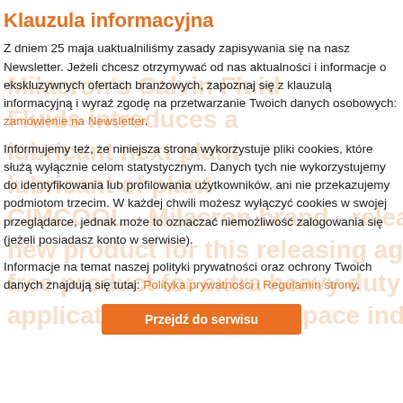Klauzula informacyjna
Z dniem 25 maja uaktualniliśmy zasady zapisywania się na nasz Newsletter. Jeżeli chcesz otrzymywać od nas aktualności i informacje o ekskluzywnych ofertach branżowych, zapoznaj się z klauzulą informacyjną i wyraź zgodę na przetwarzanie Twoich danych osobowych: zamówienie na Newsletter.
Informujemy też, że niniejsza strona wykorzystuje pliki cookies, które służą wyłącznie celom statystycznym. Danych tych nie wykorzystujemy do identyfikowania lub profilowania użytkowników, ani nie przekazujemy podmiotom trzecim. W każdej chwili możesz wyłączyć cookies w swojej przeglądarce, jednak może to oznaczać niemożliwość zalogowania się (jeżeli posiadasz konto w serwisie).
Informacje na temat naszej polityki prywatności oraz ochrony Twoich danych znajdują się tutaj: Polityka prywatności i Regulamin strony.
Przejdź do serwisu